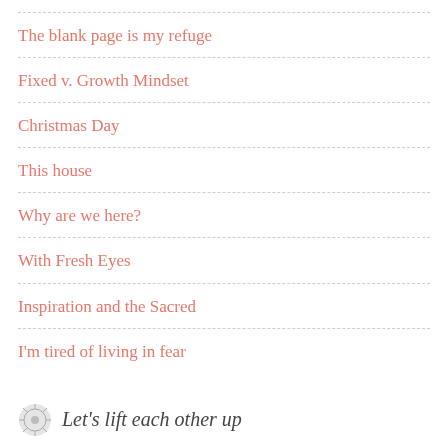The blank page is my refuge
Fixed v. Growth Mindset
Christmas Day
This house
Why are we here?
With Fresh Eyes
Inspiration and the Sacred
I'm tired of living in fear
Let's lift each other up
Let's be the lighthouse during the dark, the challenging, the